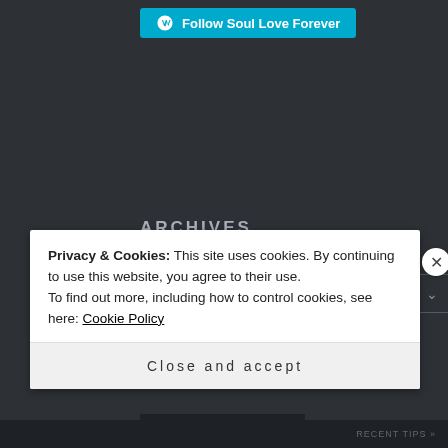[Figure (logo): WordPress Follow button with W logo and text 'Follow Soul Love Forever' on teal/cyan background]
ARCHIVES
[Figure (screenshot): Select Month dropdown widget with grey border on dark background]
BLOG STATS
Privacy & Cookies: This site uses cookies. By continuing to use this website, you agree to their use.
To find out more, including how to control cookies, see here: Cookie Policy
Close and accept